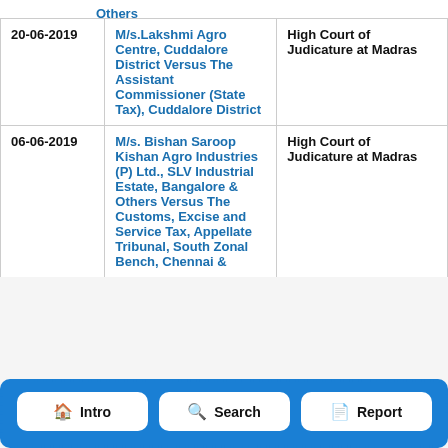| Date | Parties | Court |
| --- | --- | --- |
| 20-06-2019 | M/s.Lakshmi Agro Centre, Cuddalore District Versus The Assistant Commissioner (State Tax), Cuddalore District | High Court of Judicature at Madras |
| 06-06-2019 | M/s. Bishan Saroop Kishan Agro Industries (P) Ltd., SLV Industrial Estate, Bangalore & Others Versus The Customs, Excise and Service Tax, Appellate Tribunal, South Zonal Bench, Chennai & | High Court of Judicature at Madras |